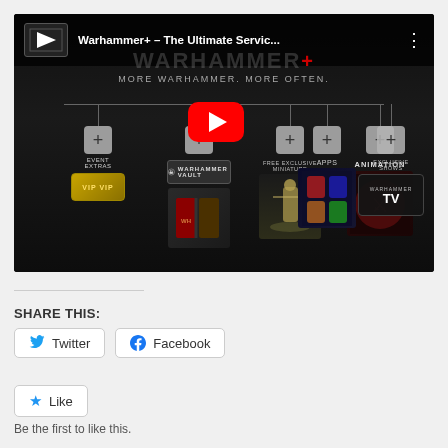[Figure (screenshot): YouTube embedded video thumbnail for 'Warhammer+ – The Ultimate Servic...' showing MORE WARHAMMER. MORE OFTEN. tagline with event extras, Warhammer Vault, free exclusive miniature, animation, apps, and exclusive shows/Warhammer TV categories displayed below a horizontal line with a red YouTube play button in the center.]
SHARE THIS:
Twitter
Facebook
Like
Be the first to like this.